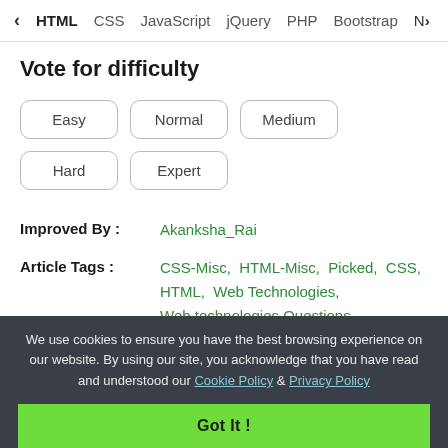< HTML  CSS  JavaScript  jQuery  PHP  Bootstrap  N>
Vote for difficulty
Easy
Normal
Medium
Hard
Expert
Improved By : Akanksha_Rai
Article Tags : CSS-Misc,  HTML-Misc,  Picked,  CSS,  HTML,  Web Technologies,  Web technologies Questions
Practice Tags : HTML
We use cookies to ensure you have the best browsing experience on our website. By using our site, you acknowledge that you have read and understood our Cookie Policy & Privacy Policy
Got It !